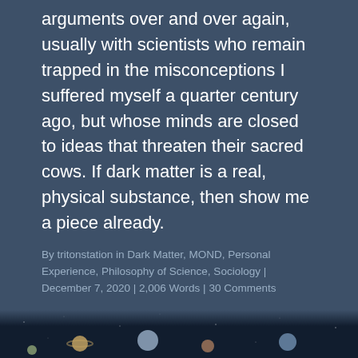arguments over and over again, usually with scientists who remain trapped in the misconceptions I suffered myself a quarter century ago, but whose minds are closed to ideas that threaten their sacred cows. If dark matter is a real, physical substance, then show me a piece already.
By tritonstation in Dark Matter, MOND, Personal Experience, Philosophy of Science, Sociology | December 7, 2020 | 2,006 Words | 30 Comments
Cosmology, then and now
[Figure (photo): Bottom strip of a space/astronomy photo showing planets or celestial objects against a dark background]